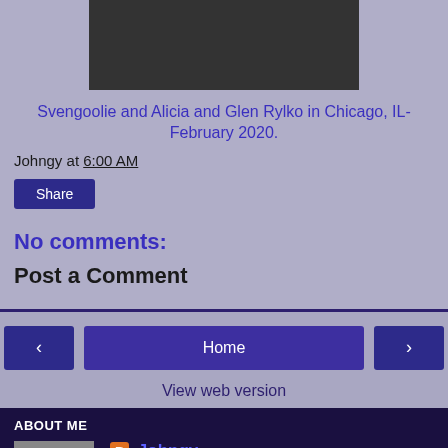[Figure (photo): Partial photo of people at an event, cropped at top]
Svengoolie and Alicia and Glen Rylko in Chicago, IL- February 2020.
Johngy at 6:00 AM
Share
No comments:
Post a Comment
< Home >
View web version
ABOUT ME
[Figure (illustration): Cartoon avatar of Johngy blogger profile picture]
Johngy
View my complete profile